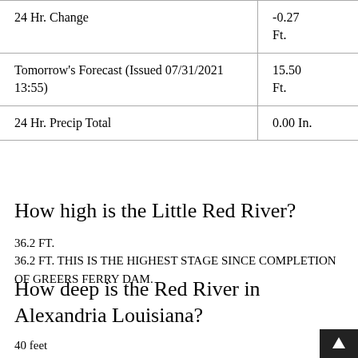|  |  |
| --- | --- |
| 24 Hr. Change | -0.27 Ft. |
| Tomorrow's Forecast (Issued 07/31/2021 13:55) | 15.50 Ft. |
| 24 Hr. Precip Total | 0.00 In. |
How high is the Little Red River?
36.2 FT.
36.2 FT. THIS IS THE HIGHEST STAGE SINCE COMPLETION OF GREERS FERRY DAM.
How deep is the Red River in Alexandria Louisiana?
40 feet